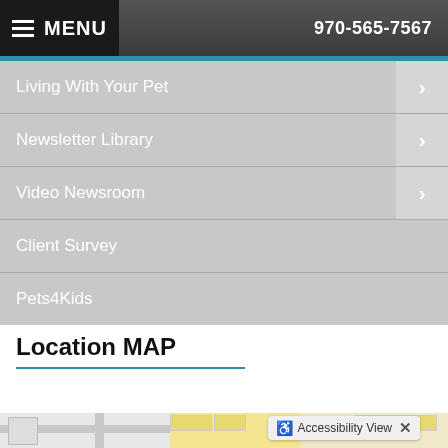MENU   970-565-7567
Living With Your Pet
Newsletter Library
Video Newsroom
Client Survey
Pets4Kids
Location MAP
[Figure (map): Location map preview with accessibility view badge and close button. Map shows street grid with yellow building footprints on the right side.]